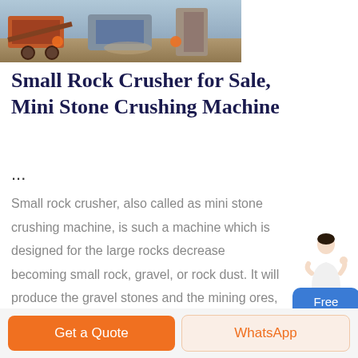[Figure (photo): Photograph of a small rock crusher / mini stone crushing machine at a quarry or industrial site, showing machinery and equipment.]
Small Rock Crusher for Sale, Mini Stone Crushing Machine
...
Small rock crusher, also called as mini stone crushing machine, is such a machine which is designed for the large rocks decrease becoming small rock, gravel, or rock dust. It will produce the gravel stones and the mining ores, or the filling material used to beautify and erosion control.
[Figure (illustration): Customer service person figure with Free chat button widget]
Get a Quote
WhatsApp